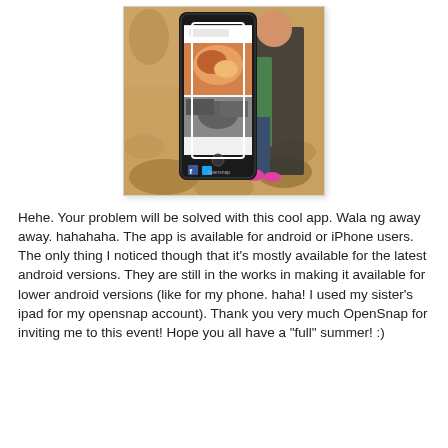[Figure (photo): A person standing next to a large oversized smartphone prop displaying a food app (OpenSnap). The phone prop shows food photos on its screen and social media icons at the bottom. The setting appears to be an event venue with a decorative floor.]
Hehe. Your problem will be solved with this cool app. Wala ng away away. hahahaha. The app is available for android or iPhone users. The only thing I noticed though that it's mostly available for the latest android versions. They are still in the works in making it available for lower android versions (like for my phone. haha! I used my sister's ipad for my opensnap account). Thank you very much OpenSnap for inviting me to this event! Hope you all have a "full" summer! :)